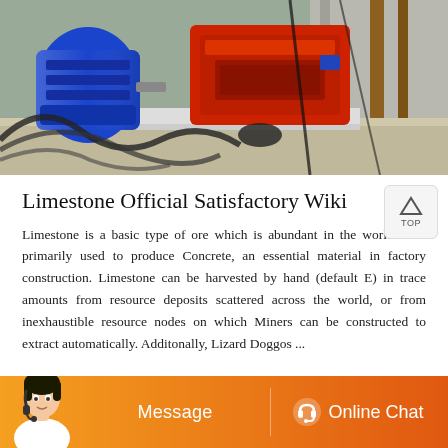[Figure (photo): Industrial mining/construction equipment photo showing a blue electric motor on the left, a red crusher or processing machine in the center, concrete structures in the background, hydraulic hoses and cables in the foreground.]
Limestone Official Satisfactory Wiki
Limestone is a basic type of ore which is abundant in the world. It is primarily used to produce Concrete, an essential material in factory construction. Limestone can be harvested by hand (default E) in trace amounts from resource deposits scattered across the world, or from inexhaustible resource nodes on which Miners can be constructed to extract automatically. Additonally, Lizard Doggos ...
[Figure (illustration): Orange chat bar at the bottom with a customer service representative avatar on the left, a Message button, and an Online Chat button with a headset icon.]